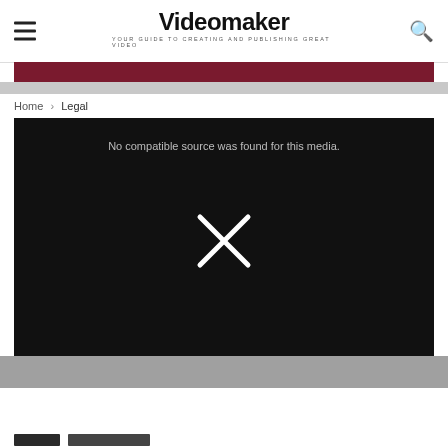Videomaker — YOUR GUIDE TO CREATING AND PUBLISHING GREAT VIDEO
Home › Legal
[Figure (screenshot): Video player showing 'No compatible source was found for this media.' with a large X symbol on black background]